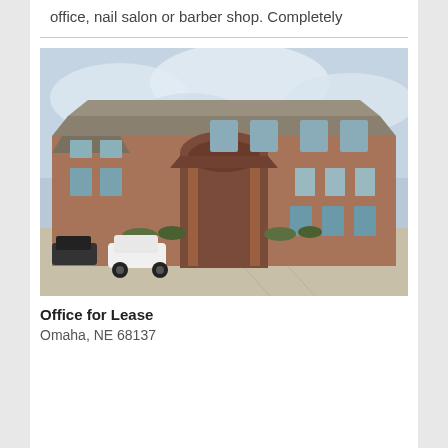office, nail salon or barber shop. Completely
[Figure (photo): Exterior photo of a two-story brick commercial office building with arched entrance, parking lot in foreground, overcast sky]
Office for Lease
Omaha, NE 68137